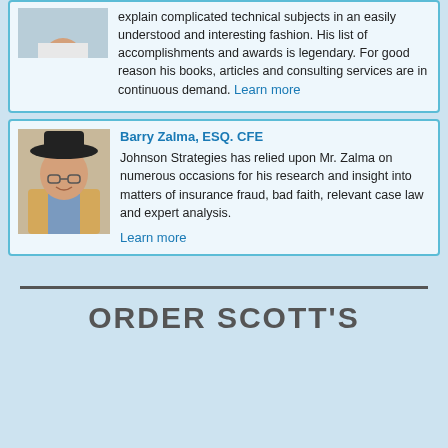explain complicated technical subjects in an easily understood and interesting fashion. His list of accomplishments and awards is legendary. For good reason his books, articles and consulting services are in continuous demand. Learn more
[Figure (photo): Profile photo of Barry Zalma, a man wearing a black cowboy hat and glasses, in a beige jacket]
Barry Zalma, ESQ. CFE
Johnson Strategies has relied upon Mr. Zalma on numerous occasions for his research and insight into matters of insurance fraud, bad faith, relevant case law and expert analysis. Learn more
ORDER SCOTT'S